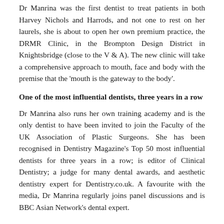Dr Manrina was the first dentist to treat patients in both Harvey Nichols and Harrods, and not one to rest on her laurels, she is about to open her own premium practice, the DRMR Clinic, in the Brompton Design District in Knightsbridge (close to the V & A). The new clinic will take a comprehensive approach to mouth, face and body with the premise that the 'mouth is the gateway to the body'.
One of the most influential dentists, three years in a row
Dr Manrina also runs her own training academy and is the only dentist to have been invited to join the Faculty of the UK Association of Plastic Surgeons. She has been recognised in Dentistry Magazine's Top 50 most influential dentists for three years in a row; is editor of Clinical Dentistry; a judge for many dental awards, and aesthetic dentistry expert for Dentistry.co.uk. A favourite with the media, Dr Manrina regularly joins panel discussions and is BBC Asian Network's dental expert.
Who better to create their own skincare range than an aesthetics expert? Dr Manrina Rhode has launched the